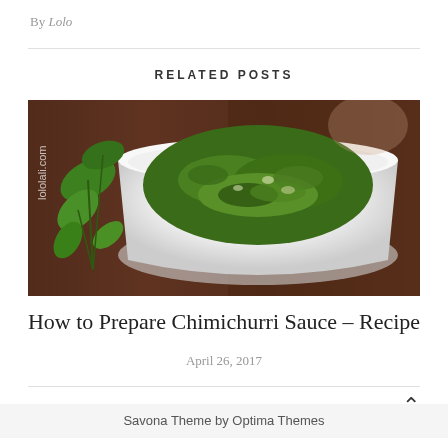By Lolo
RELATED POSTS
[Figure (photo): A white bowl filled with chimichurri sauce (chopped green herbs) on a dark wooden background, with fresh green herb leaves to the left. Watermark text 'lololali.com' visible on left side.]
How to Prepare Chimichurri Sauce – Recipe
April 26, 2017
Savona Theme by Optima Themes